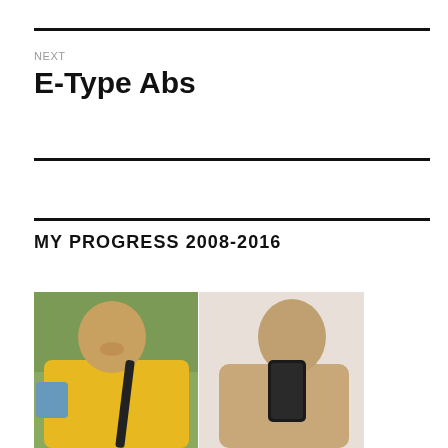NEXT
E-Type Abs
MY PROGRESS 2008-2016
[Figure (photo): Before and after comparison photo: left shows a heavier man in a yellow t-shirt with a bag strap, outdoors with green background; right shows a leaner, shirtless man taking a mirror selfie with a smartphone.]